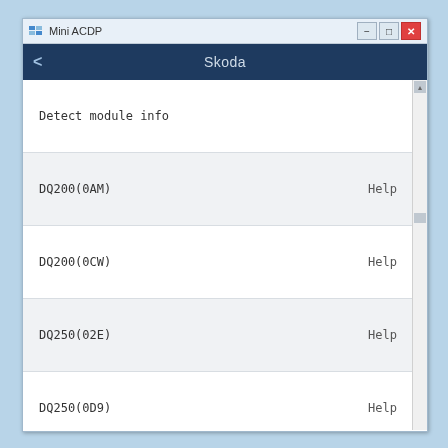Mini ACDP
Skoda
Detect module info
DQ200(0AM)   Help
DQ200(0CW)   Help
DQ250(02E)   Help
DQ250(0D9)   Help